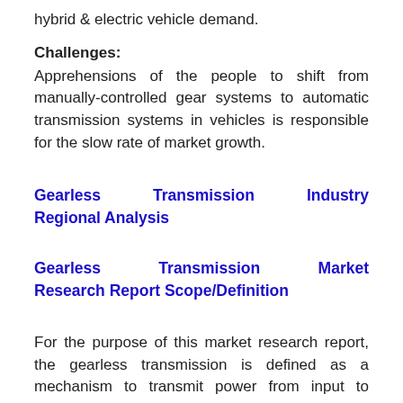hybrid & electric vehicle demand.
Challenges:
Apprehensions of the people to shift from manually-controlled gear systems to automatic transmission systems in vehicles is responsible for the slow rate of market growth.
Gearless Transmission Industry Regional Analysis
Gearless Transmission Market Research Report Scope/Definition
For the purpose of this market research report, the gearless transmission is defined as a mechanism to transmit power from input to output shafts by using sliding links to form revolute pair with the hub. Gearless transmission